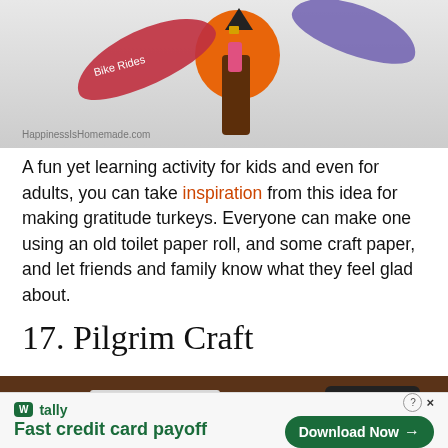[Figure (photo): Craft photo showing colorful paper feathers on an orange pumpkin turkey made from a toilet paper roll, with text 'Bike Rides' on a leaf. Watermark: HappinessIsHomemade.com]
A fun yet learning activity for kids and even for adults, you can take inspiration from this idea for making gratitude turkeys. Everyone can make one using an old toilet paper roll, and some craft paper, and let friends and family know what they feel glad about.
17. Pilgrim Craft
[Figure (photo): Partial photo of a Pilgrim Craft project on a brown wooden surface, showing white paper and a dark mug/hat, with a Pinterest Pin button overlay.]
tally Fast credit card payoff Download Now